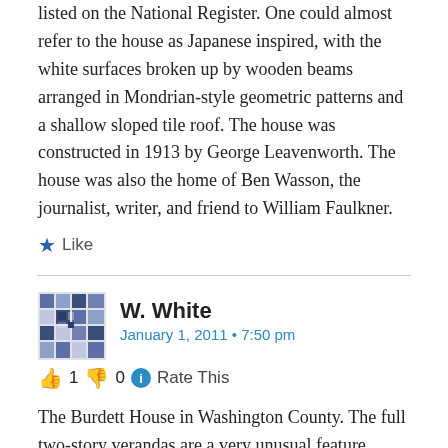listed on the National Register. One could almost refer to the house as Japanese inspired, with the white surfaces broken up by wooden beams arranged in Mondrian-style geometric patterns and a shallow sloped tile roof. The house was constructed in 1913 by George Leavenworth. The house was also the home of Ben Wasson, the journalist, writer, and friend to William Faulkner.
★ Like
W. White
January 1, 2011 • 7:50 pm
👍 1 👎 0 ℹ Rate This
The Burdett House in Washington County. The full two-story verandas are a very unusual feature.
★ Like
W. White
January 1, 2011 • 7:56 pm